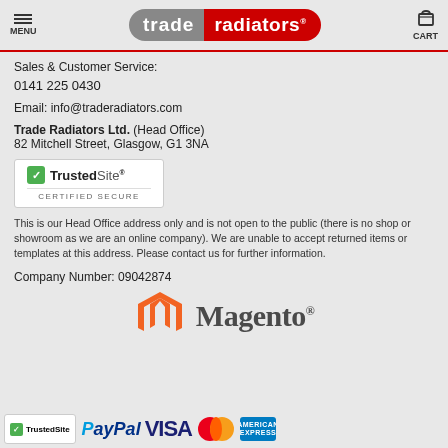MENU | trade radiators | CART
Sales & Customer Service:
0141 225 0430
Email: info@traderadiators.com
Trade Radiators Ltd. (Head Office)
82 Mitchell Street, Glasgow, G1 3NA
[Figure (logo): TrustedSite Certified Secure badge]
This is our Head Office address only and is not open to the public (there is no shop or showroom as we are an online company). We are unable to accept returned items or templates at this address. Please contact us for further information.
Company Number: 09042874
[Figure (logo): Magento logo with orange M icon]
[Figure (logo): Payment logos row: TrustedSite, PayPal, VISA, Mastercard, American Express]